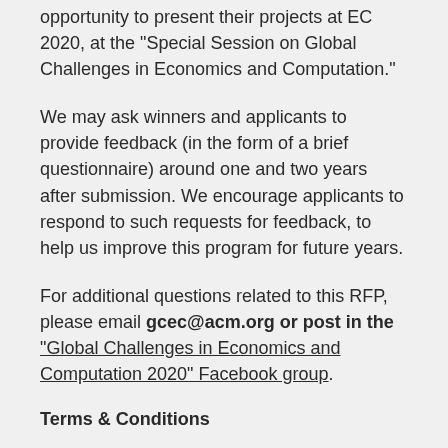opportunity to present their projects at EC 2020, at the "Special Session on Global Challenges in Economics and Computation."
We may ask winners and applicants to provide feedback (in the form of a brief questionnaire) around one and two years after submission. We encourage applicants to respond to such requests for feedback, to help us improve this program for future years.
For additional questions related to this RFP, please email gcec@acm.org or post in the "Global Challenges in Economics and Computation 2020" Facebook group.
Terms & Conditions